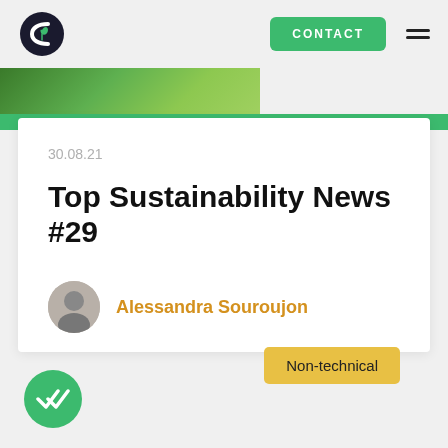[Figure (logo): Circular logo with leaf/plant icon and letter C]
CONTACT
[Figure (photo): Green tree leaves photo strip with green bar below]
30.08.21
Top Sustainability News #29
[Figure (photo): Author headshot of Alessandra Souroujon, circular avatar]
Alessandra Souroujon
Non-technical
[Figure (illustration): Green circular checkmark button at bottom left]